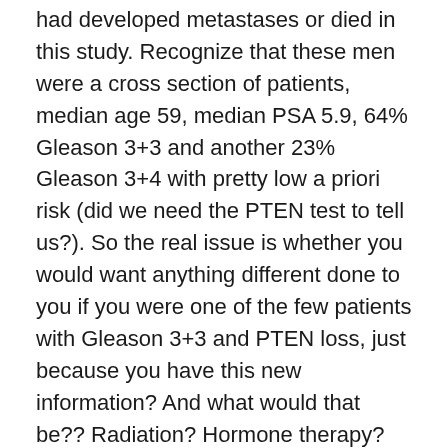had developed metastases or died in this study. Recognize that these men were a cross section of patients, median age 59, median PSA 5.9, 64% Gleason 3+3 and another 23% Gleason 3+4 with pretty low a priori risk (did we need the PTEN test to tell us?). So the real issue is whether you would want anything different done to you if you were one of the few patients with Gleason 3+3 and PTEN loss, just because you have this new information? And what would that be?? Radiation? Hormone therapy? How much and how long? -all in the psychology of looking at those curves. Some men might want nothing more done, while others would want “the kitchen sink” thrown at them, even if they had relatively little (and unproven) to gain.
So, medicine remains as much an art as it is a science (with no offense to my mathematical statistical